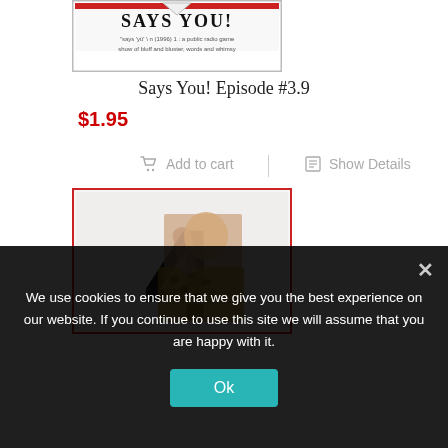[Figure (photo): Says You! radio show logo/cover image at top of product listing]
Says You! Episode #3.9
$1.95
Add to cart
Show Details
[Figure (photo): Product image for Says You! Season 4, showing a large number 4 with a photo of a man raising his hand, wearing a leopard-print jacket]
We use cookies to ensure that we give you the best experience on our website. If you continue to use this site we will assume that you are happy with it.
Ok